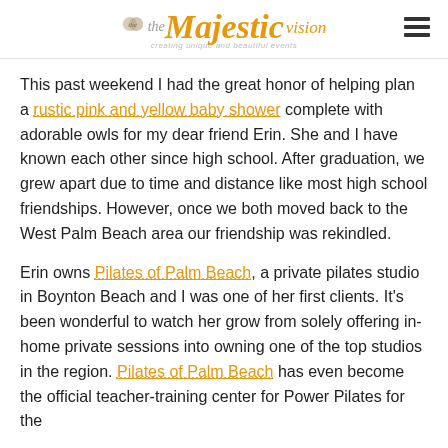the Majestic vision — creating unique and beautiful events
This past weekend I had the great honor of helping plan a rustic pink and yellow baby shower complete with adorable owls for my dear friend Erin. She and I have known each other since high school. After graduation, we grew apart due to time and distance like most high school friendships. However, once we both moved back to the West Palm Beach area our friendship was rekindled.
Erin owns Pilates of Palm Beach, a private pilates studio in Boynton Beach and I was one of her first clients. It's been wonderful to watch her grow from solely offering in-home private sessions into owning one of the top studios in the region. Pilates of Palm Beach has even become the official teacher-training center for Power Pilates for the South...